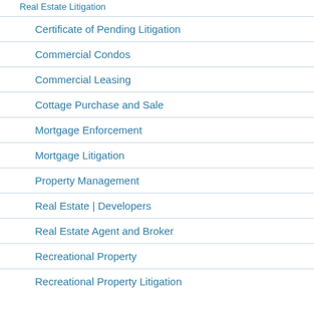Real Estate Litigation
Certificate of Pending Litigation
Commercial Condos
Commercial Leasing
Cottage Purchase and Sale
Mortgage Enforcement
Mortgage Litigation
Property Management
Real Estate | Developers
Real Estate Agent and Broker
Recreational Property
Recreational Property Litigation